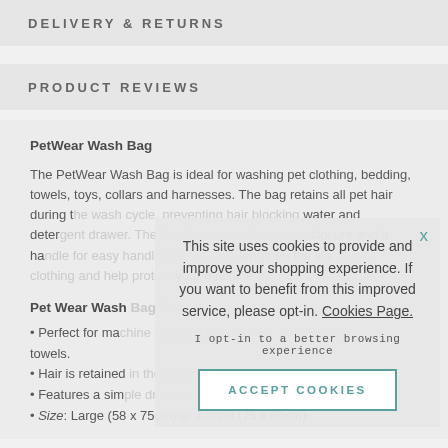DELIVERY & RETURNS
PRODUCT REVIEWS
PetWear Wash Bag
The PetWear Wash Bag is ideal for washing pet clothing, bedding, towels, toys, collars and harnesses. The bag retains all pet hair during the wash cycle, preventing hair blocking your water and deter... closure and a ha... lengthen the life... your machine fr...
Pet Wear Wash Bag Features
Perfect for ma... towels.
Hair is retained...
Features a sim...
Size: Large (58 x 75cm) or Jumbo (75 x 80cm).
This site uses cookies to provide and improve your shopping experience. If you want to benefit from this improved service, please opt-in. Cookies Page.
I opt-in to a better browsing experience
ACCEPT COOKIES